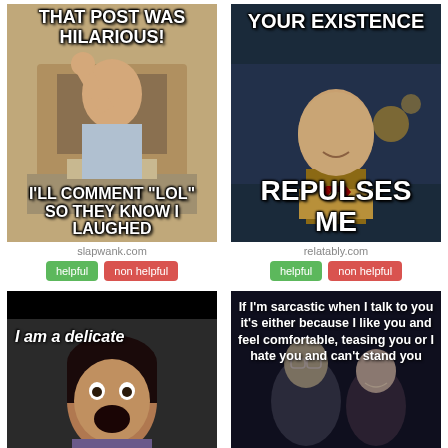[Figure (photo): Meme: Boy at computer raising fist. Top text: 'THAT POST WAS HILARIOUS!' Bottom text: 'I'LL COMMENT "LOL" SO THEY KNOW I LAUGHED']
slapwank.com
[Figure (other): Buttons: helpful (green), non helpful (red)]
[Figure (photo): Meme: Smiling man in suit. Top text: 'YOUR EXISTENCE' Bottom text: 'REPULSES ME']
relatably.com
[Figure (other): Buttons: helpful (green), non helpful (red)]
[Figure (photo): Meme: Angry screaming woman. Text: 'I am a delicate']
[Figure (photo): Meme: Dark figures. Text: 'If I'm sarcastic when I talk to you it's either because I like you and feel comfortable, teasing you or I hate you and can't stand you']